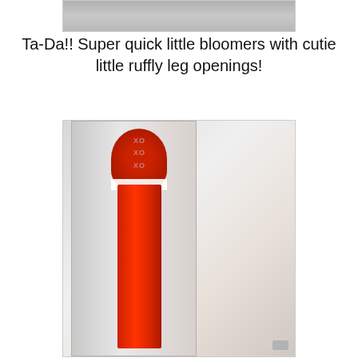[Figure (photo): Partial top image of a fabric/textile item, cropped at the top of the page]
Ta-Da!! Super quick little bloomers with cutie little ruffly leg openings!
[Figure (photo): A red bloomer garment with ruffled top featuring XO pattern, hanging against a white/mirrored surface]